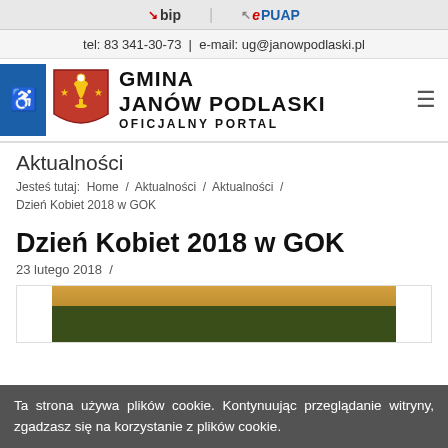bip | ePUAP
tel: 83 341-30-73 | e-mail: ug@janowpodlaski.pl
[Figure (logo): Gmina Janów Podlaski official portal logo with coat of arms and accessibility icon]
Aktualności
Jesteś tutaj:  Home / Aktualności / Aktualności / Dzień Kobiet 2018 w GOK
Dzień Kobiet 2018 w GOK
23 lutego 2018  /
[Figure (photo): Photo partially visible: decorative arrangement, possibly flowers or event decoration]
Ta strona używa plików cookie. Kontynuując przeglądanie witryny, zgadzasz się na korzystanie z plików cookie.